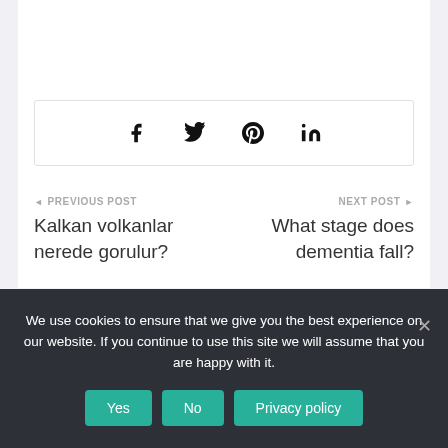[Figure (other): Social share bar with Facebook, Twitter, Pinterest, and LinkedIn icons]
◄ PREVIOUS POST
Kalkan volkanlar nerede gorulur?
NEXT POST ►
What stage does dementia fall?
We use cookies to ensure that we give you the best experience on our website. If you continue to use this site we will assume that you are happy with it.